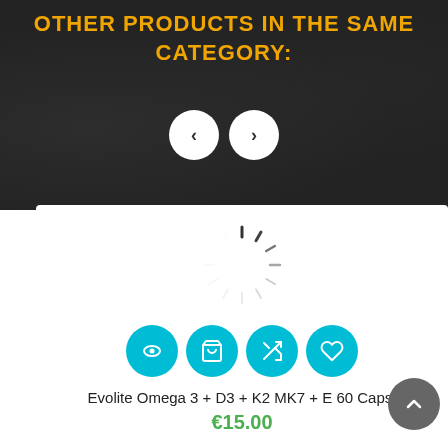OTHER PRODUCTS IN THE SAME CATEGORY:
[Figure (screenshot): Loading spinner animation inside a white product card]
[Figure (infographic): Four circular cyan action buttons: view (eye icon), add to cart (cart icon), compare (shuffle icon), wishlist (heart icon)]
Evolite Omega 3 + D3 + K2 MK7 + E 60 Caps.
€15.00